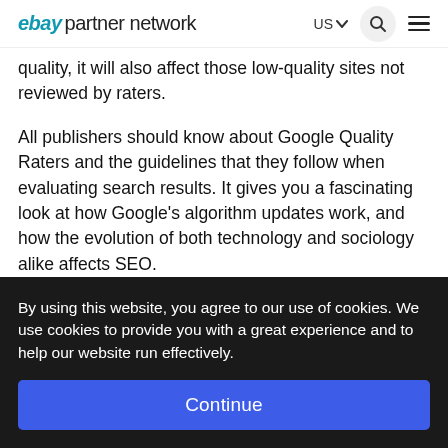ebay partner network  US  [search] [menu]
quality, it will also affect those low-quality sites not reviewed by raters.
All publishers should know about Google Quality Raters and the guidelines that they follow when evaluating search results. It gives you a fascinating look at how Google’s algorithm updates work, and how the evolution of both technology and sociology alike affects SEO.
By using this website, you agree to our use of cookies. We use cookies to provide you with a great experience and to help our website run effectively.
Continue